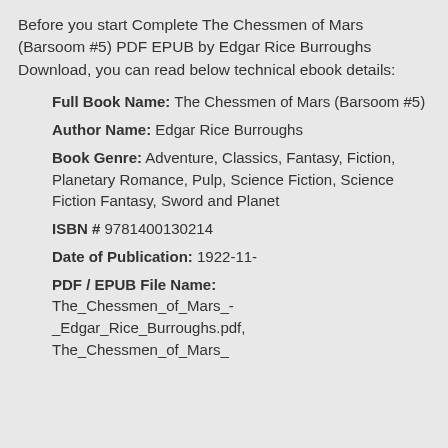Before you start Complete The Chessmen of Mars (Barsoom #5) PDF EPUB by Edgar Rice Burroughs Download, you can read below technical ebook details:
Full Book Name: The Chessmen of Mars (Barsoom #5)
Author Name: Edgar Rice Burroughs
Book Genre: Adventure, Classics, Fantasy, Fiction, Planetary Romance, Pulp, Science Fiction, Science Fiction Fantasy, Sword and Planet
ISBN # 9781400130214
Date of Publication: 1922-11-
PDF / EPUB File Name: The_Chessmen_of_Mars_-_Edgar_Rice_Burroughs.pdf, The_Chessmen_of_Mars_